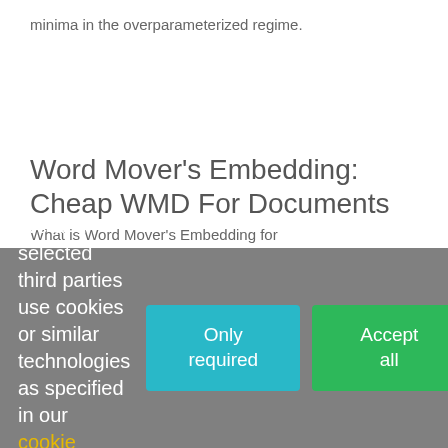minima in the overparameterized regime.
Word Mover's Embedding: Cheap WMD For Documents
What is Word Mover's Embedding for
We and selected third parties use cookies or similar technologies as specified in our cookie policy.
Only required
Accept all